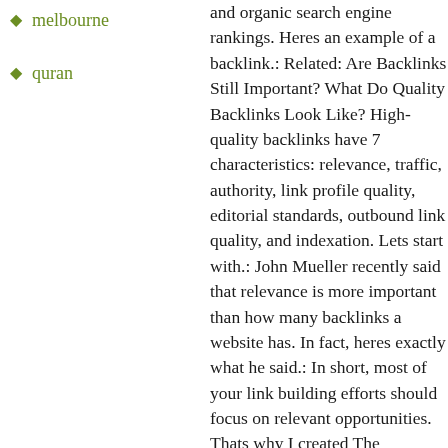melbourne
quran
and organic search engine rankings. Heres an example of a backlink.: Related: Are Backlinks Still Important? What Do Quality Backlinks Look Like? High-quality backlinks have 7 characteristics: relevance, traffic, authority, link profile quality, editorial standards, outbound link quality, and indexation. Lets start with.: John Mueller recently said that relevance is more important than how many backlinks a website has. In fact, heres exactly what he said.: In short, most of your link building efforts should focus on relevant opportunities. Thats why I created The Relevancy Pyramid. Its the single best way to prioritize your link opportunities. The model is simple.: There are fewer link building opportunities that are 100 relevant to your website.